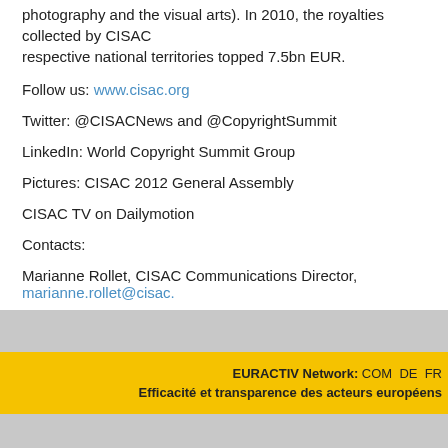photography and the visual arts). In 2010, the royalties collected by CISAC respective national territories topped 7.5bn EUR.
Follow us: www.cisac.org
Twitter: @CISACNews and @CopyrightSummit
LinkedIn: World Copyright Summit Group
Pictures: CISAC 2012 General Assembly
CISAC TV on Dailymotion
Contacts:
Marianne Rollet, CISAC Communications Director, marianne.rollet@cisac.
EURACTIV Network: COM DE FR ... Efficacité et transparence des acteurs européens